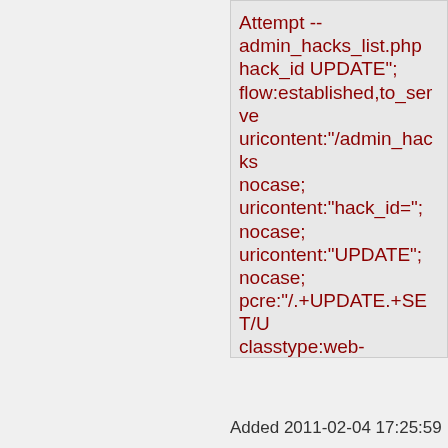Attempt -- admin_hacks_list.php hack_id UPDATE"; flow:established,to_serve uricontent:"/admin_hacks nocase; uricontent:"hack_id="; nocase; uricontent:"UPDATE"; nocase; pcre:"/.+UPDATE.+SET/U classtype:web-application-attack; reference:cve,CVE-2006-6216; reference:url,www.milw0r reference:url,doc.emergin reference:url,www.emergi bin/cvsweb.cgi/sigs/WEB_ sid:2006974; rev:5;)
Added 2011-02-04 17:25:59